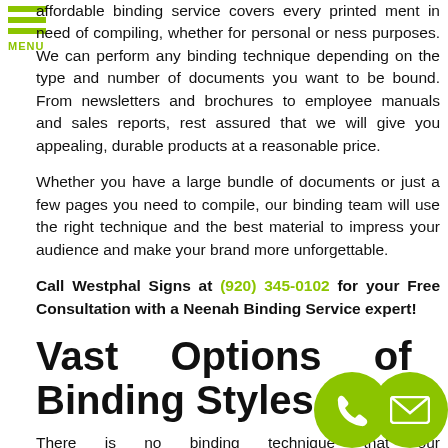[Figure (other): Green hamburger menu icon with three horizontal bars and 'MENU' label below]
affordable binding service covers every printed ment in need of compiling, whether for personal or ness purposes. We can perform any binding technique depending on the type and number of documents you want to be bound. From newsletters and brochures to employee manuals and sales reports, rest assured that we will give you appealing, durable products at a reasonable price.
Whether you have a large bundle of documents or just a few pages you need to compile, our binding team will use the right technique and the best material to impress your audience and make your brand more unforgettable.
Call Westphal Signs at (920) 345-0102 for your Free Consultation with a Neenah Binding Service expert!
Vast Options of Binding Styles
There is no binding technique that our t ou do. From binding your documents on the per to